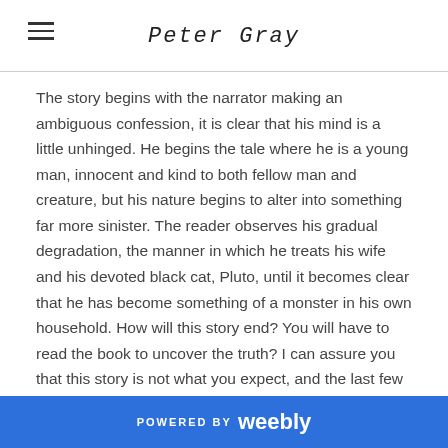Peter Gray
The story begins with the narrator making an ambiguous confession, it is clear that his mind is a little unhinged. He begins the tale where he is a young man, innocent and kind to both fellow man and creature, but his nature begins to alter into something far more sinister. The reader observes his gradual degradation, the manner in which he treats his wife and his devoted black cat, Pluto, until it becomes clear that he has become something of a monster in his own household. How will this story end? You will have to read the book to uncover the truth? I can assure you that this story is not what you expect, and the last few lines will stay in your memory forever. A thrilling read, and one that I highly recommend to those that love Gothic horror or dark supernatural tales.
POWERED BY weebly